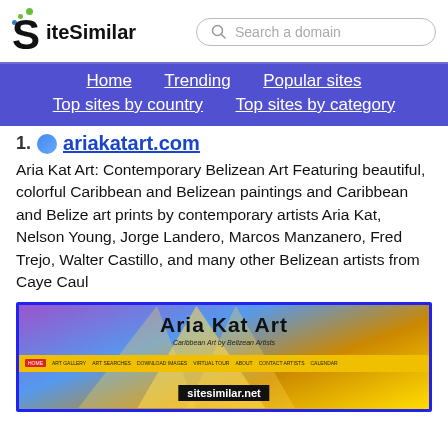SiteSimilar
Home | Trending | Popular sites | Top sites by country | Top sites by category
1. ariakatart.com
Aria Kat Art: Contemporary Belizean Art Featuring beautiful, colorful Caribbean and Belizean paintings and Caribbean and Belize art prints by contemporary artists Aria Kat, Nelson Young, Jorge Landero, Marcos Manzanero, Fred Trejo, Walter Castillo, and many other Belizean artists from Caye Caul
[Figure (screenshot): Screenshot of ariakatart.com website showing the Aria Kat Art logo with colorful Caribbean-themed background, navigation bar, and sitesimilar.net watermark]